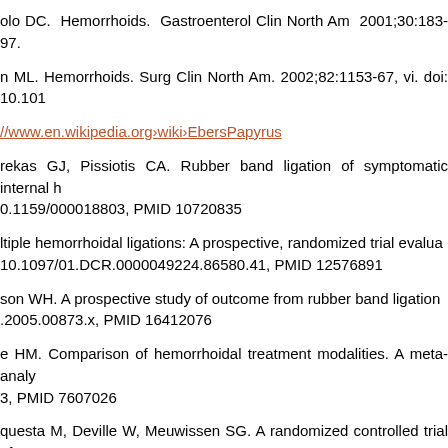olo DC. Hemorrhoids. Gastroenterol Clin North Am 2001;30:183-97.
n ML. Hemorrhoids. Surg Clin North Am. 2002;82:1153-67, vi. doi: 10.10...
//www.en.wikipedia.org›wiki›EbersPapyrus
rekas GJ, Pissiotis CA. Rubber band ligation of symptomatic internal h... 0.1159/000018803, PMID 10720835
ltiple hemorrhoidal ligations: A prospective, randomized trial evalua... 10.1097/01.DCR.0000049224.86580.41, PMID 12576891
son WH. A prospective study of outcome from rubber band ligation... .2005.00873.x, PMID 16412076
e HM. Comparison of hemorrhoidal treatment modalities. A meta-analy... 3, PMID 7607026
questa M, Deville W, Meuwissen SG. A randomized controlled trial of RB... d. Eur J Gastroenterol Hepatol 2000;12:535-9.
A, Chandorkar I, Sahoo S. A prospective study of efficacy and safety of ... s-a western Indian experience. J Colorectal (Rio J) 2018;38:189-93.